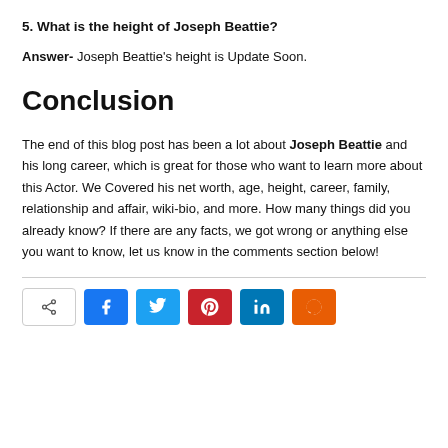5. What is the height of Joseph Beattie?
Answer- Joseph Beattie's height is Update Soon.
Conclusion
The end of this blog post has been a lot about Joseph Beattie and his long career, which is great for those who want to learn more about this Actor. We Covered his net worth, age, height, career, family, relationship and affair, wiki-bio, and more. How many things did you already know? If there are any facts, we got wrong or anything else you want to know, let us know in the comments section below!